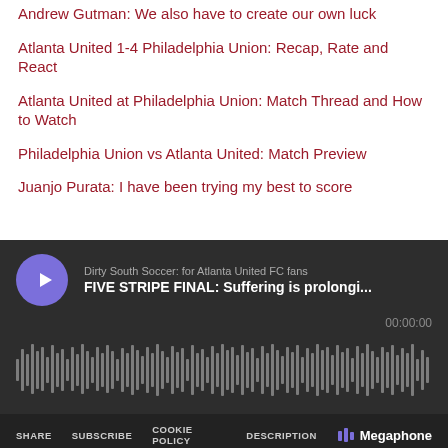Andrew Gutman: We also have to create our own luck
Atlanta United 1-4 Philadelphia Union: Recap, Rate and React
Atlanta United at Philadelphia Union: Match Thread and How to Watch
Philadelphia Union vs Atlanta United: Match Preview
Juanjo Purata: I have been trying my best to score
[Figure (screenshot): Podcast player widget (dark theme) showing 'Dirty South Soccer: for Atlanta United FC fans' podcast with episode title 'FIVE STRIPE FINAL: Suffering is prolongi...' at 00:00:00, with waveform visualization, share/subscribe/cookie policy/description controls, Megaphone branding, and 'IN THIS PLAYLIST 290 EPISODES' footer]